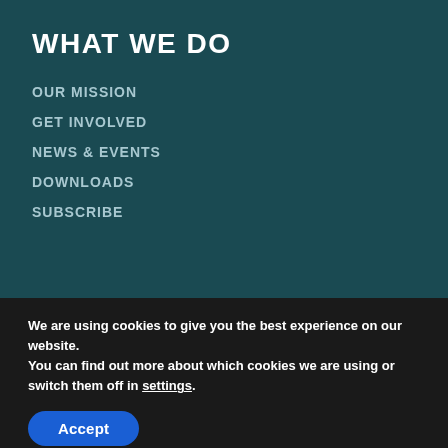WHAT WE DO
OUR MISSION
GET INVOLVED
NEWS & EVENTS
DOWNLOADS
SUBSCRIBE
We are using cookies to give you the best experience on our website.
You can find out more about which cookies we are using or switch them off in settings.
Accept